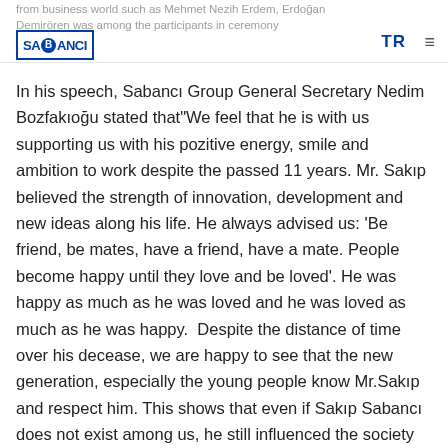from business world such as Mehmet Nezih Erdem, Erdoğan Demirören was among the participants in ceremony
In his speech, Sabancı Group General Secretary Nedim Bozfakıoğu stated that"We feel that he is with us supporting us with his pozitive energy, smile and ambition to work despite the passed 11 years. Mr. Sakıp believed the strength of innovation, development and new ideas along his life. He always advised us: 'Be friend, be mates, have a friend, have a mate. People become happy until they love and be loved'. He was happy as much as he was loved and he was loved as much as he was happy.  Despite the distance of time over his decease, we are happy to see that the new generation, especially the young people know Mr.Sakıp and respect him. This shows that even if Sakıp Sabancı does not exist among us, he still influenced the society and still influences.